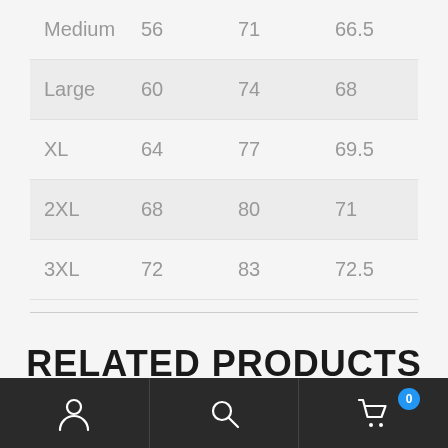| Medium | 56 | 71 | 66.5 |
| Large | 60 | 74 | 68 |
| XL | 64 | 77 | 69.5 |
| 2XL | 68 | 80 | 71 |
| 3XL | 72 | 83 | 72.5 |
RELATED PRODUCTS
Navigation bar with user, search, and cart icons